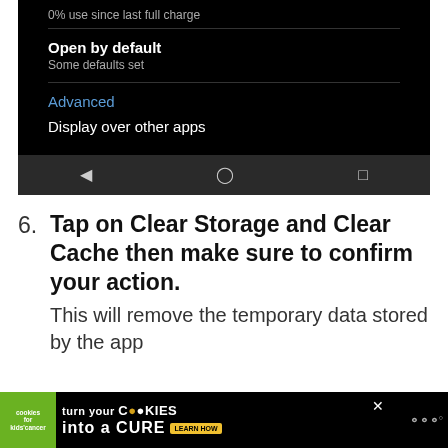[Figure (screenshot): Android app settings screen showing '0% use since last full charge', 'Open by default / Some defaults set', 'Advanced' link in blue, 'Display over other apps', and Android navigation bar with back, home, and recents icons]
6. Tap on Clear Storage and Clear Cache then make sure to confirm your action.
This will remove the temporary data stored by the app
[Figure (screenshot): Advertisement banner: 'cookies for kids cancer' logo on green background, text 'turn your COOKIES into a CURE LEARN HOW' with close X button]